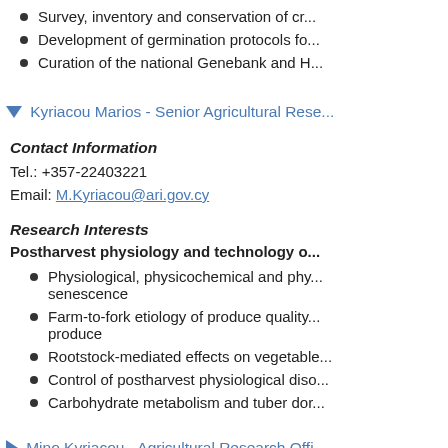Survey, inventory and conservation of cr...
Development of germination protocols fo...
Curation of the national Genebank and H...
Kyriacou Marios - Senior Agricultural Rese...
Contact Information
Tel.: +357-22403221
Email: M.Kyriacou@ari.gov.cy
Research Interests
Postharvest physiology and technology o...
Physiological, physicochemical and phy... senescence
Farm-to-fork etiology of produce quality... produce
Rootstock-mediated effects on vegetable...
Control of postharvest physiological diso...
Carbohydrate metabolism and tuber dor...
Mino Kyriacou - Agricultural Research Offi...